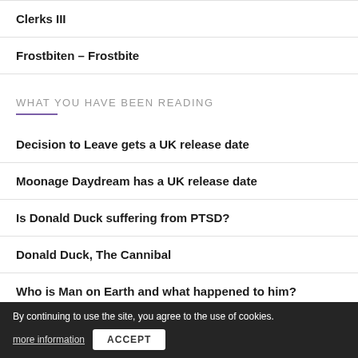Clerks III
Frostbiten – Frostbite
WHAT YOU HAVE BEEN READING
Decision to Leave gets a UK release date
Moonage Daydream has a UK release date
Is Donald Duck suffering from PTSD?
Donald Duck, The Cannibal
Who is Man on Earth and what happened to him?
By continuing to use the site, you agree to the use of cookies.